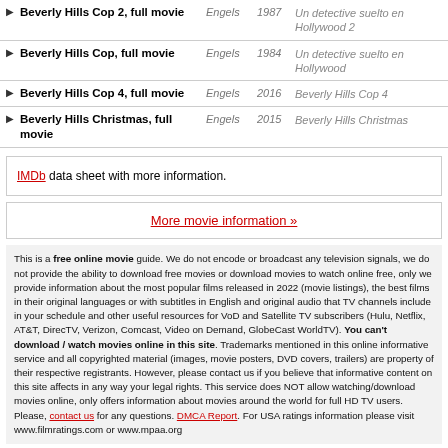Beverly Hills Cop 2, full movie | Engels | 1987 | Un detective suelto en Hollywood 2
Beverly Hills Cop, full movie | Engels | 1984 | Un detective suelto en Hollywood
Beverly Hills Cop 4, full movie | Engels | 2016 | Beverly Hills Cop 4
Beverly Hills Christmas, full movie | Engels | 2015 | Beverly Hills Christmas
IMDb data sheet with more information.
More movie information »
This is a free online movie guide. We do not encode or broadcast any television signals, we do not provide the ability to download free movies or download movies to watch online free, only we provide information about the most popular films released in 2022 (movie listings), the best films in their original languages or with subtitles in English and original audio that TV channels include in your schedule and other useful resources for VoD and Satellite TV subscribers (Hulu, Netflix, AT&T, DirecTV, Verizon, Comcast, Video on Demand, GlobeCast WorldTV). You can't download / watch movies online in this site. Trademarks mentioned in this online informative service and all copyrighted material (images, movie posters, DVD covers, trailers) are property of their respective registrants. However, please contact us if you believe that informative content on this site affects in any way your legal rights. This service does NOT allow watching/download movies online, only offers information about movies around the world for full HD TV users. Please, contact us for any questions. DMCA Report. For USA ratings information please visit www.filmratings.com or www.mpaa.org